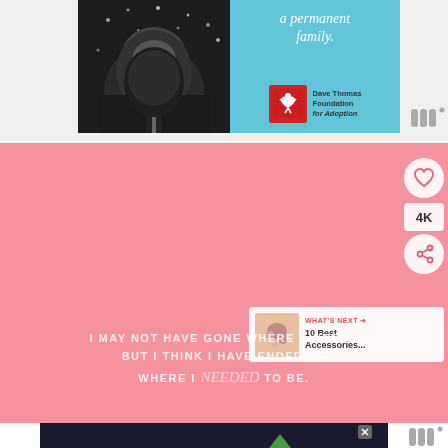[Figure (screenshot): Dave Thomas Foundation for Adoption advertisement. Left side shows black and white photo of person with beard covered in snow/frost. Right side has teal/cyan background with italic text 'a permanent family.' and Dave Thomas Foundation for Adoption logo (red square with white figure icon).]
[Figure (screenshot): Pink background social media post with heart/like button showing, share button, 4K count. 'What's Next' panel showing '10 Best Accessories...' with thumbnail image. Quote text reading: 'I MAY NOT HAVE GONE WHERE I INTENDED BUT I THINK I HAVE ENDED UP WHERE I needed TO BE.']
I MAY NOT HAVE GONE WHERE I INTENDED BUT I THINK I HAVE ENDED UP WHERE I needed TO BE.
WHAT'S NEXT → 10 Best Accessories...
[Figure (screenshot): Sandy Hook Promise advertisement on dark background. Text reads 'Learn the signs to prevent school shootings.' with Sandy Hook Promise logo (green tree). Has close (X) button.]
Learn the signs to prevent school shootings.
4K